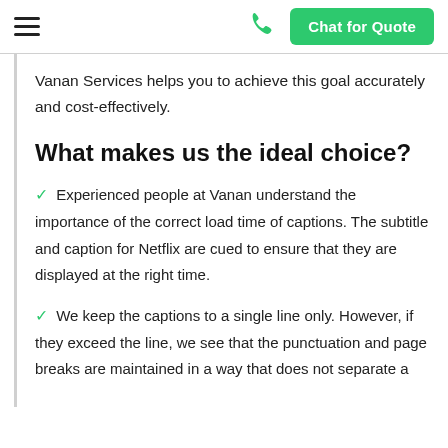≡  📞  Chat for Quote
Vanan Services helps you to achieve this goal accurately and cost-effectively.
What makes us the ideal choice?
✓ Experienced people at Vanan understand the importance of the correct load time of captions. The subtitle and caption for Netflix are cued to ensure that they are displayed at the right time.
✓ We keep the captions to a single line only. However, if they exceed the line, we see that the punctuation and page breaks are maintained in a way that does not separate a